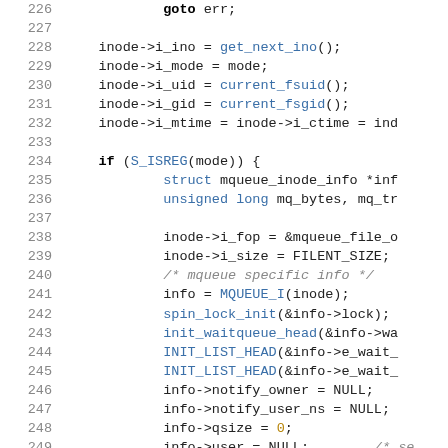Source code listing lines 226-255, C kernel code for mqueue inode initialization